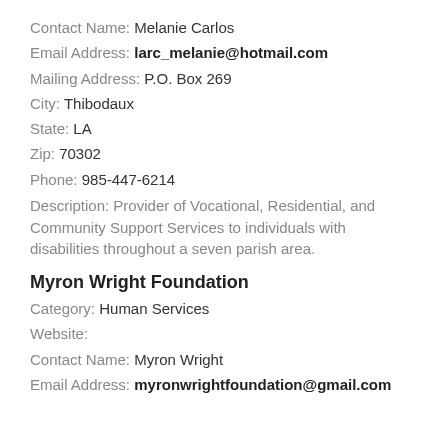Contact Name: Melanie Carlos
Email Address: larc_melanie@hotmail.com
Mailing Address: P.O. Box 269
City: Thibodaux
State: LA
Zip: 70302
Phone: 985-447-6214
Description: Provider of Vocational, Residential, and Community Support Services to individuals with disabilities throughout a seven parish area.
Myron Wright Foundation
Category: Human Services
Website:
Contact Name: Myron Wright
Email Address: myronwrightfoundation@gmail.com